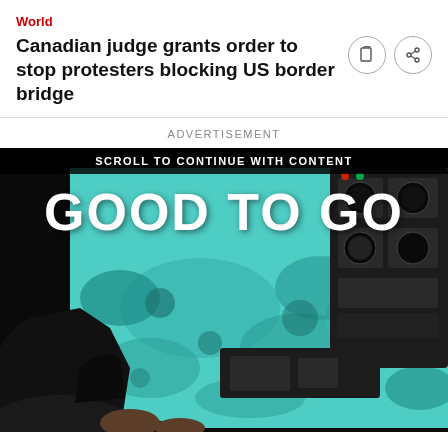World
Canadian judge grants order to stop protesters blocking US border bridge
ADVERTISEMENT
[Figure (photo): Advertisement image showing helicopter cockpit view over turquoise ocean reef with text 'GOOD TO GO' and a banner reading 'SCROLL TO CONTINUE WITH CONTENT']